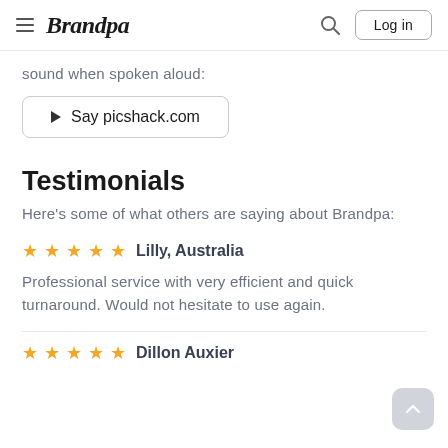Brandpa  Log in
sound when spoken aloud:
▶ Say picshack.com
Testimonials
Here's some of what others are saying about Brandpa:
★★★★★  Lilly, Australia
Professional service with very efficient and quick turnaround. Would not hesitate to use again.
★★★★★  Dillon Auxier